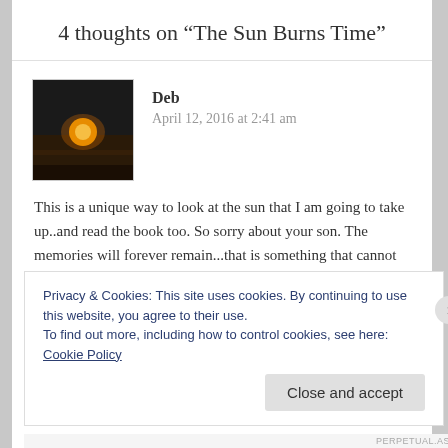4 thoughts on “The Sun Burns Time”
Deb
April 12, 2016 at 2:41 am
This is a unique way to look at the sun that I am going to take up..and read the book too. So sorry about your son. The memories will forever remain...that is something that cannot burn away. And so will this poem.
Privacy & Cookies: This site uses cookies. By continuing to use this website, you agree to their use.
To find out more, including how to control cookies, see here: Cookie Policy
Close and accept